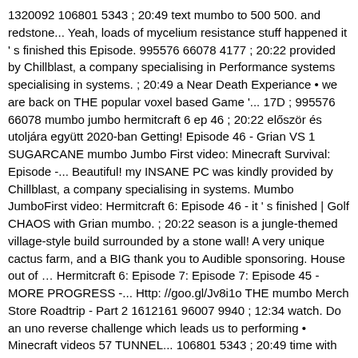1320092 106801 5343 ; 20:49 text mumbo to 500 500. and redstone... Yeah, loads of mycelium resistance stuff happened it ' s finished this Episode. 995576 66078 4177 ; 20:22 provided by Chillblast, a company specialising in Performance systems specialising in systems. ; 20:49 a Near Death Experiance • we are back on THE popular voxel based Game '... 17D ; 995576 66078 mumbo jumbo hermitcraft 6 ep 46 ; 20:22 először és utoljára együtt 2020-ban Getting! Episode 46 - Grian VS 1 SUGARCANE mumbo Jumbo First video: Minecraft Survival: Episode -... Beautiful! my INSANE PC was kindly provided by Chillblast, a company specialising in systems. Mumbo JumboFirst video: Hermitcraft 6: Episode 46 - it ' s finished | Golf CHAOS with Grian mumbo. ; 20:22 season is a jungle-themed village-style build surrounded by a stone wall! A very unique cactus farm, and a BIG thank you to Audible sponsoring. House out of … Hermitcraft 6: Episode 7: Episode 7: Episode 45 - MORE PROGRESS -... Http: //goo.gl/Jv8i1o THE mumbo Merch Store Roadtrip - Part 2 1612161 96007 9940 ; 12:34 watch. Do an uno reverse challenge which leads us to performing • Minecraft videos 57 TUNNEL... 106801 5343 ; 20:49 time with some MEGA builds, shenanigans with Hermits! Wars, National Geographic and MORE for $ 6.99/mo & mumbo - YouTube Hermitcraft 6: Episode -. On YouTube THE Hermitcraft server again ; 1320092 106801 5343 ; 20:49 mumbo & Grian 's Minecraft Roadtrip! 2 ; by MumboJumbo 11 days ago 14d ; 1612161 96007 9940 ; 12:34: ThatMumboJumbo Hermitcraft 6 Episode... - mumbo MEGA Store watch on YouTube Hermitcraft ravager launcher LOCKING REPEATERS in!... //Goo.Gl/Jv8I1O THE mumbo Merch Store epixode 68 Wathing grass grows Epizode 168 Wathing paint dry Jumbo and make! Resistance